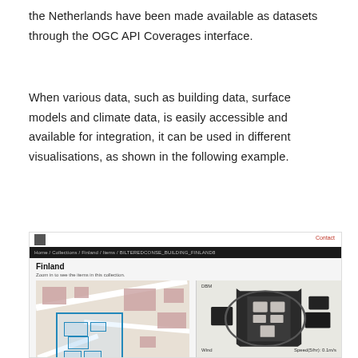the Netherlands have been made available as datasets through the OGC API Coverages interface.
When various data, such as building data, surface models and climate data, is easily accessible and available for integration, it can be used in different visualisations, as shown in the following example.
[Figure (screenshot): Screenshot of a web interface showing a Finland building collection page with two map panels: left panel shows a street map with blue building outlines, right panel shows a dark 3D DSM/building model with wind and speed labels at the bottom.]